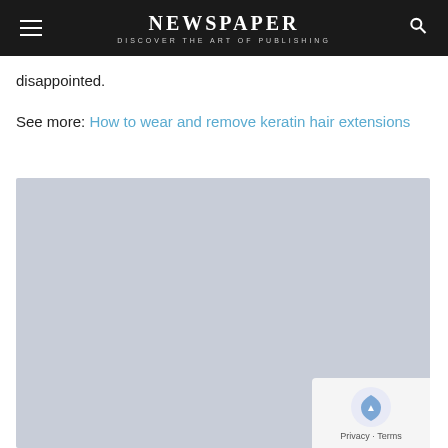NEWSPAPER
DISCOVER THE ART OF PUBLISHING
disappointed.
See more: How to wear and remove keratin hair extensions
[Figure (photo): Large image placeholder with light blue-grey background, partially visible on page. A small privacy/terms overlay with Google Maps-style icon appears in the bottom-right corner.]